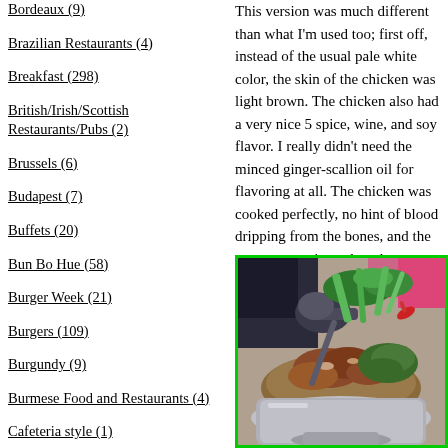Bordeaux (9)
Brazilian Restaurants (4)
Breakfast (298)
British/Irish/Scottish Restaurants/Pubs (2)
Brussels (6)
Budapest (7)
Buffets (20)
Bun Bo Hue (58)
Burger Week (21)
Burgers (109)
Burgundy (9)
Burmese Food and Restaurants (4)
Cafeteria style (1)
Caffeine Fix (126)
Cajun, Southern, and Soul Food (33)
Cambodia (14)
Cambodian Restaurants and Cuisine (5)
This version was much different than what I'm used too; first off, instead of the usual pale white color, the skin of the chicken was light brown. The chicken also had a very nice 5 spice, wine, and soy flavor. I really didn't need the minced ginger-scallion oil for flavoring at all. The chicken was cooked perfectly, no hint of blood dripping from the bones, and the meat was moist and tender.
The most satisfying dish of the evening was
[Figure (photo): A hot pot or soup dish with meat, green vegetables, red chili pepper, and broth being served with a ladle, showing a clay pot or metal pot setup]